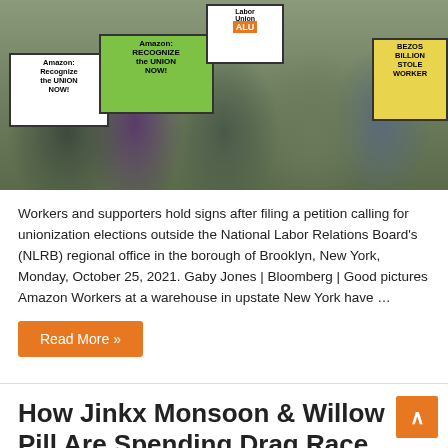[Figure (photo): Protest crowd holding signs reading 'Amazon Recognize the Union Now!', 'Amazon: Recognize the Union NOW!', 'Labor Union', and partially visible 'Bezos Billions Stolen from Workers']
Workers and supporters hold signs after filing a petition calling for unionization elections outside the National Labor Relations Board's (NLRB) regional office in the borough of Brooklyn, New York, Monday, October 25, 2021. Gaby Jones | Bloomberg | Good pictures Amazon Workers at a warehouse in upstate New York have …
Read More »
How Jinkx Monsoon & Willow Pill Are Spending Drag Race Winnings
2 days ago   Entertainment   0
[Figure (photo): Side-by-side photos of two people, left with red/auburn hair, right with dark hair, both with red lips]